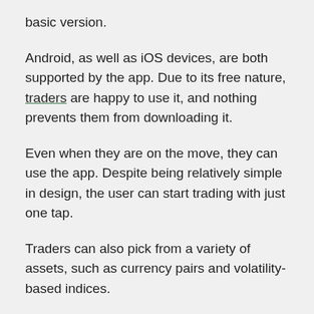basic version.
Android, as well as iOS devices, are both supported by the app. Due to its free nature, traders are happy to use it, and nothing prevents them from downloading it.
Even when they are on the move, they can use the app. Despite being relatively simple in design, the user can start trading with just one tap.
Traders can also pick from a variety of assets, such as currency pairs and volatility-based indices.
It runs pretty smoothly, so they can always find all the essential information on their screen. The graph can also help one to make an informed decision.